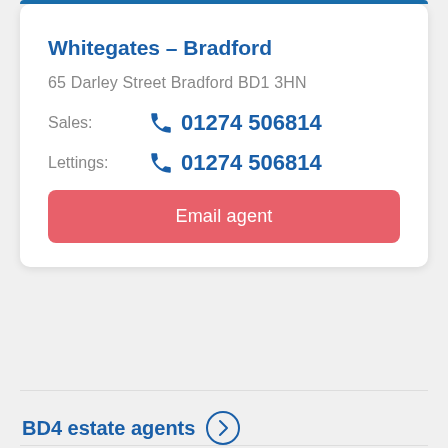Whitegates - Bradford
65 Darley Street Bradford BD1 3HN
Sales: 01274 506814
Lettings: 01274 506814
Email agent
BD4 estate agents →